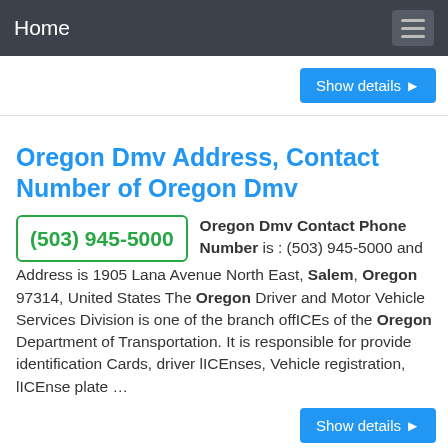Home
Show details ▶
Oregon Dmv Address, Contact Number of Oregon Dmv
(503) 945-5000
Oregon Dmv Contact Phone Number is : (503) 945-5000 and Address is 1905 Lana Avenue North East, Salem, Oregon 97314, United States The Oregon Driver and Motor Vehicle Services Division is one of the branch offICEs of the Oregon Department of Transportation. It is responsible for provide identification Cards, driver lICEnses, Vehicle registration, lICEnse plate …
Show details ▶